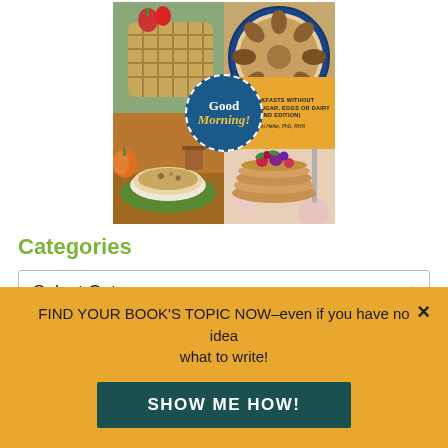[Figure (photo): Book cover for 'Good Morning! Breakfasts Without Gluten, Sugar, Eggs or Dairy (2nd Edition)' by Ricki Heller, PhD, RHN. The cover features a grid of four food photos: waffles with strawberries (top left), a round tart/pie (top right), a bowl of porridge/cereal (bottom left), and pancakes with berries (bottom right). In the center is a blue circular badge with 'Good Morning!' in white and gold script. The right half has a yellow-orange panel with subtitle text.]
Categories
Select Category
FIND YOUR BOOK'S TOPIC NOW–even if you have no idea what to write!
SHOW ME HOW!